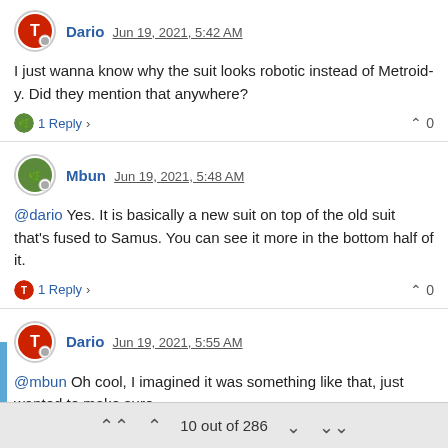Dario Jun 19, 2021, 5:42 AM
I just wanna know why the suit looks robotic instead of Metroid-y. Did they mention that anywhere?
1 Reply > ^ 0
Mbun Jun 19, 2021, 5:48 AM
@dario Yes. It is basically a new suit on top of the old suit that's fused to Samus. You can see it more in the bottom half of it.
1 Reply > ^ 0
Dario Jun 19, 2021, 5:55 AM
@mbun Oh cool, I imagined it was something like that, just wanted to make sure.

I'm pretty hyped about this but honestly I'm mostly curious about the future of the series because of the stuff Sakamoto said. Hopefully
10 out of 286